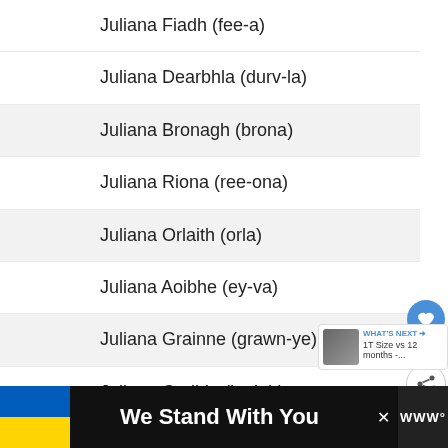Juliana Fiadh (fee-a)
Juliana Dearbhla (durv-la)
Juliana Bronagh (brona)
Juliana Riona (ree-ona)
Juliana Orlaith (orla)
Juliana Aoibhe (ey-va)
Juliana Grainne (grawn-ye)
Juliana Cadhla (ky-lah)
Juliana Medb (Maeve)
Juliana Cara
Juliana Roisin (ro-sheen)
Juliana Sorcha (sur-ka)
We Stand With You